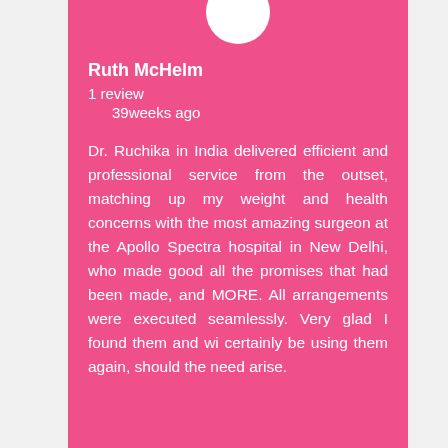Ruth McHelm
1 review
39weeks ago
Dr. Ruchika in India delivered efficient and professional service from the outset, matching up my weight and health concerns with the most amazing surgeon at the Apollo Spectra hospital in New Delhi, who made good all the promises that had been made, and MORE. All arrangements were executed seamlessly. Very glad I found them and wi certainly be using them again, should the need arise.